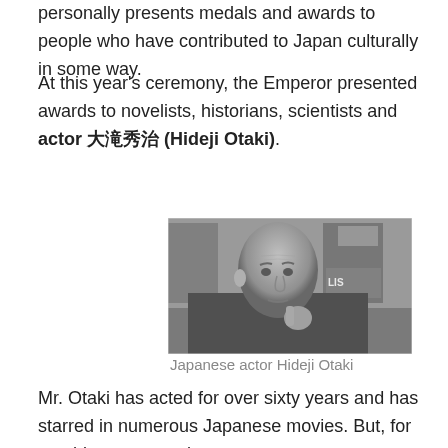personally presents medals and awards to people who have contributed to Japan culturally in some way.
At this year's ceremony, the Emperor presented awards to novelists, historians, scientists and actor 大滝秀治 (Hideji Otaki).
[Figure (photo): Black and white photograph of elderly Japanese actor Hideji Otaki, gesturing with his hand, with movie posters visible in the background including one that says ELIZA]
Japanese actor Hideji Otaki
Mr. Otaki has acted for over sixty years and has starred in numerous Japanese movies. But, for me, his greatest role